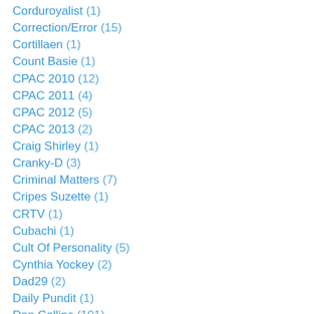Corduroyalist (1)
Correction/Error (15)
Cortillaen (1)
Count Basie (1)
CPAC 2010 (12)
CPAC 2011 (4)
CPAC 2012 (5)
CPAC 2013 (2)
Craig Shirley (1)
Cranky-D (3)
Criminal Matters (7)
Cripes Suzette (1)
CRTV (1)
Cubachi (1)
Cult Of Personality (5)
Cynthia Yockey (2)
Dad29 (2)
Daily Pundit (1)
Dan Collins (101)
Dan Riehl (43)